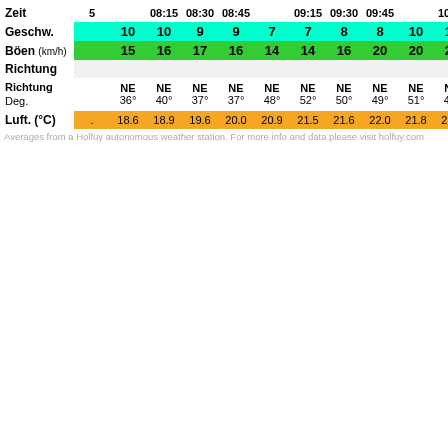| Zeit | 5 | 08h | 08:15 | 08:30 | 08:45 | 09h | 09:15 | 09:30 | 09:45 | 10h | 10:15 | 10:30 |
| --- | --- | --- | --- | --- | --- | --- | --- | --- | --- | --- | --- | --- |
| Geschw. |  | 10 | 10 | 9 | 9 | 7 | 7 | 8 | 8 | 10 | 10 | 10 |
| Böen (km/h) |  | 15 | 16 | 17 | 16 | 14 | 14 | 16 | 20 | 20 | 21 | 20 |
| Richtung |  |  |  |  |  |  |  |  |  |  |  |  |
| Richtung Deg. |  | NE 36° | NE 40° | NE 37° | NE 37° | NE 48° | NE 52° | NE 50° | NE 49° | NE 51° | NE 49° | NE 50° |
| Luft. (°C) | . | 18.6 | 18.9 | 19.6 | 20.0 | 20.9 | 21.5 | 21.6 | 22.0 | 21.8 | 21.8 | 21.9 |
Averages from a Holfuy autonomous weather station. For more info and data please visit holfuy.com